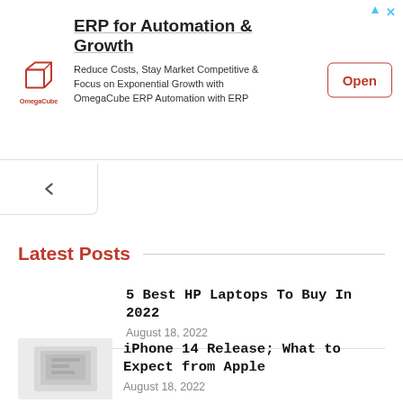[Figure (infographic): Advertisement banner for OmegaCube ERP with logo, title 'ERP for Automation & Growth', description text, and 'Open' button]
ERP for Automation & Growth
Reduce Costs, Stay Market Competitive & Focus on Exponential Growth with OmegaCube ERP Automation with ERP
Latest Posts
5 Best HP Laptops To Buy In 2022
August 18, 2022
iPhone 14 Release; What to Expect from Apple
August 18, 2022